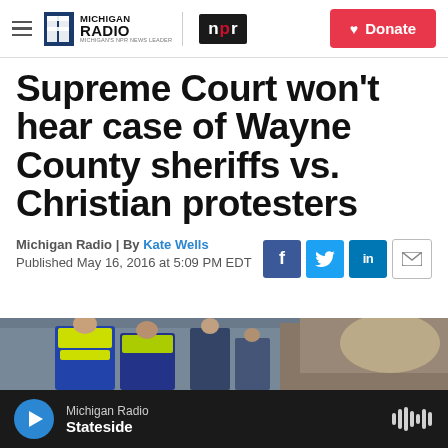Michigan Radio | NPR — Donate
Supreme Court won't hear case of Wayne County sheriffs vs. Christian protesters
Michigan Radio | By Kate Wells
Published May 16, 2016 at 5:09 PM EDT
[Figure (photo): Photo of police officers in high-visibility vests]
Michigan Radio — Stateside (audio player bar)